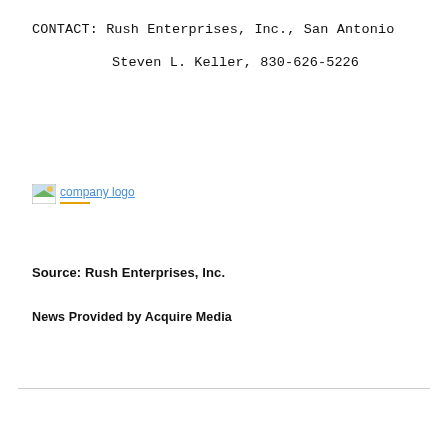CONTACT: Rush Enterprises, Inc., San Antonio
         Steven L. Keller, 830-626-5226
[Figure (logo): Company logo image with gold underline and blue hyperlink text 'company logo']
Source: Rush Enterprises, Inc.
News Provided by Acquire Media